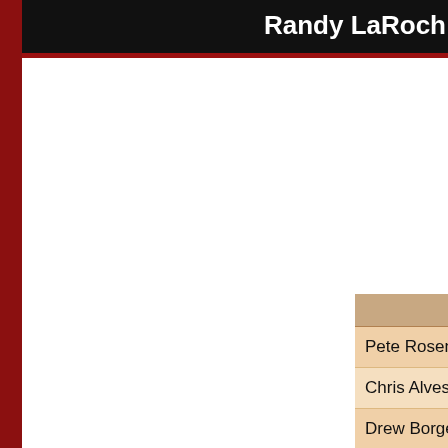Randy LaRoche
|  | Week 1 - 09-11-17 |  |
| --- | --- | --- |
| Pete Rosenthal | 10 @ 5 | Mike |
| Chris Alves | 5 @ 10 | Dean |
| Drew Borges | 8 @ 7 | C |
| Ryan Davis | 6 @ 9 | Br |
| Erik Andrutis | 7 @ 8 | Eric |
| Randy LaRoche | 7 @ 8 | An |
|  | Week 2 - 09-18-17 |  |
| --- | --- | --- |
| Chris Alves | 10 @ 5 | Pete |